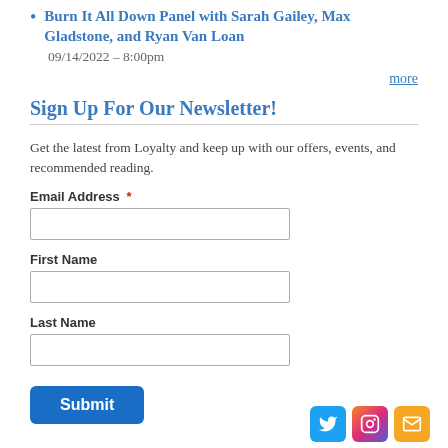Burn It All Down Panel with Sarah Gailey, Max Gladstone, and Ryan Van Loan
09/14/2022 – 8:00pm
more
Sign Up For Our Newsletter!
Get the latest from Loyalty and keep up with our offers, events, and recommended reading.
Email Address *
First Name
Last Name
Submit